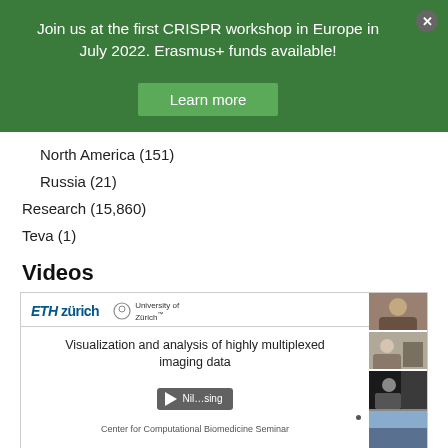Join us at the first CRISPR workshop in Europe in July 2022. Erasmus+ funds available!
Learn more
North America (151)
Russia (21)
Research (15,860)
Teva (1)
Videos
[Figure (screenshot): Video thumbnail showing ETH Zürich and University of Zürich logos, title 'Visualization and analysis of highly multiplexed imaging data', a play button overlay with 'Nil...sing' text, subtitle 'Center for Computational Biomedicine Seminar', and a sidebar with three speaker thumbnails.]